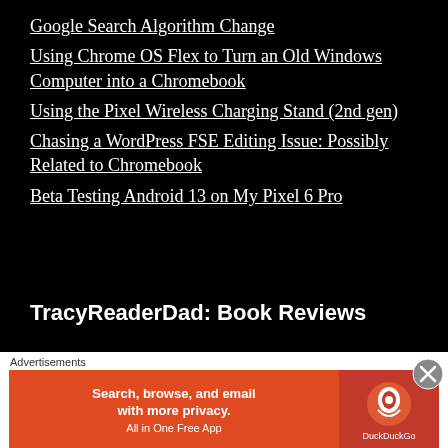Google Search Algorithm Change
Using Chrome OS Flex to Turn an Old Windows Computer into a Chromebook
Using the Pixel Wireless Charging Stand (2nd gen)
Chasing a WordPress FSE Editing Issue: Possibly Related to Chromebook
Beta Testing Android 13 on My Pixel 6 Pro
TracyReaderDad: Book Reviews
Advertisements
[Figure (infographic): DuckDuckGo advertisement banner: orange/red background with text 'Search, browse, and email with more privacy. All in One Free App' and DuckDuckGo logo on right side]